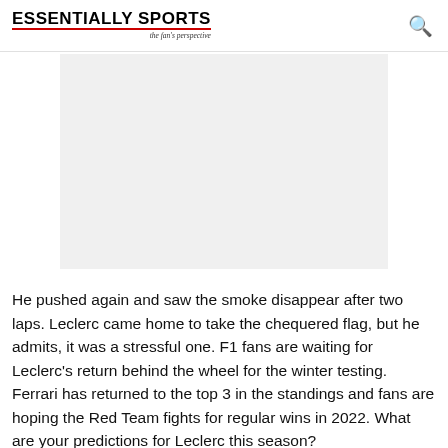ESSENTIALLY SPORTS — the fan's perspective
[Figure (other): Gray advertisement placeholder box]
He pushed again and saw the smoke disappear after two laps. Leclerc came home to take the chequered flag, but he admits, it was a stressful one. F1 fans are waiting for Leclerc's return behind the wheel for the winter testing. Ferrari has returned to the top 3 in the standings and fans are hoping the Red Team fights for regular wins in 2022. What are your predictions for Leclerc this season?